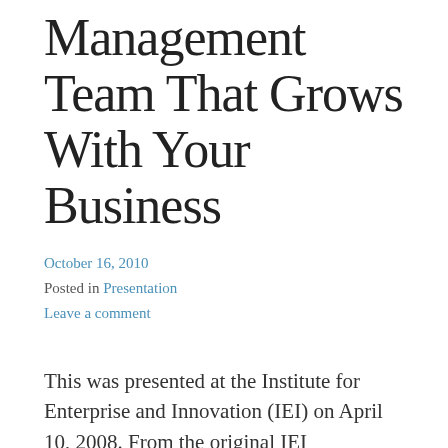Management Team That Grows With Your Business
October 16, 2010
Posted in Presentation
Leave a comment
This was presented at the Institute for Enterprise and Innovation (IEI) on April 10, 2008. From the original IEI description: From idea to prototype to first customer to full scale operations, young companies go through tremendous changes in